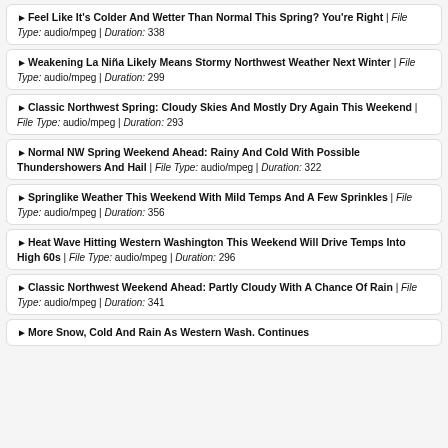▶ Feel Like It's Colder And Wetter Than Normal This Spring? You're Right | File Type: audio/mpeg | Duration: 338
▶ Weakening La Niña Likely Means Stormy Northwest Weather Next Winter | File Type: audio/mpeg | Duration: 299
▶ Classic Northwest Spring: Cloudy Skies And Mostly Dry Again This Weekend | File Type: audio/mpeg | Duration: 293
▶ Normal NW Spring Weekend Ahead: Rainy And Cold With Possible Thundershowers And Hail | File Type: audio/mpeg | Duration: 322
▶ Springlike Weather This Weekend With Mild Temps And A Few Sprinkles | File Type: audio/mpeg | Duration: 356
▶ Heat Wave Hitting Western Washington This Weekend Will Drive Temps Into High 60s | File Type: audio/mpeg | Duration: 296
▶ Classic Northwest Weekend Ahead: Partly Cloudy With A Chance Of Rain | File Type: audio/mpeg | Duration: 341
▶ More Snow, Cold And Rain As Western Wash. Continues